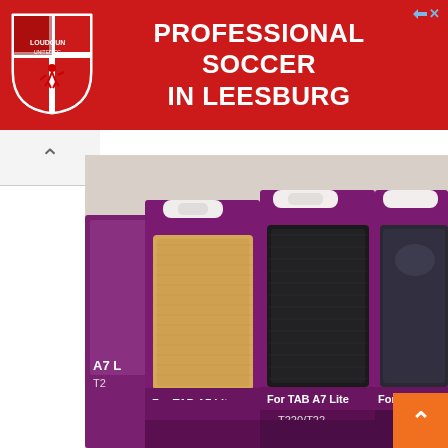[Figure (advertisement): Red banner advertisement for Loudoun Soccer featuring a shield logo on the left and bold white text reading 'PROFESSIONAL SOCCER IN LEESBURG' on the right, with a small close button (arrow + X) in the top right corner.]
[Figure (photo): Product photo showing multiple Samsung Galaxy TAB A7 Lite (T220/T225) cases in purple packaging sitting on a surface. Three cases are visible: one gold/tan colored case, one black case, and one dark gray/charcoal case. The purple packaging labels read 'For TAB A7 Lite T220/T225'.]